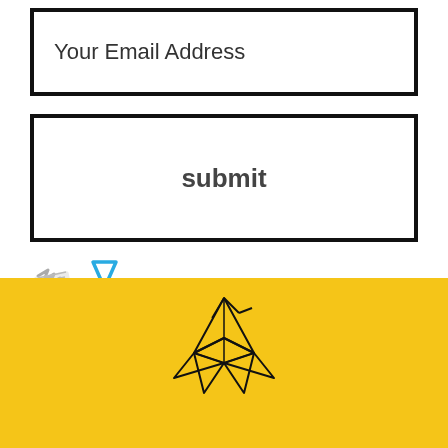Your Email Address
submit
[Figure (illustration): Small decorative icon with a blue downward-pointing triangle and a gray zigzag paper/ribbon shape to the left]
[Figure (illustration): Yellow footer band with an origami crane/bird figure drawn in black outline lines at the center bottom]